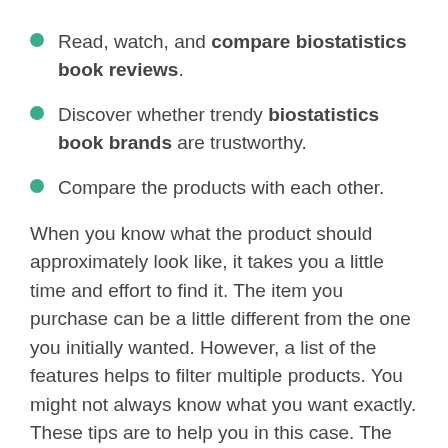Read, watch, and compare biostatistics book reviews.
Discover whether trendy biostatistics book brands are trustworthy.
Compare the products with each other.
When you know what the product should approximately look like, it takes you a little time and effort to find it. The item you purchase can be a little different from the one you initially wanted. However, a list of the features helps to filter multiple products. You might not always know what you want exactly. These tips are to help you in this case. The best way is to choose several products you like the most and then compare them with each other.
Some people don’t trust the customers’ reviews, but they usually reveal more data on the product. Maybe it